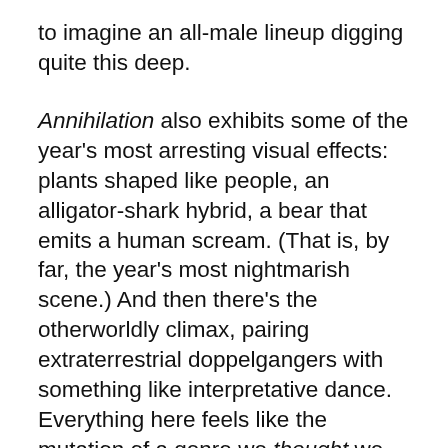to imagine an all-male lineup digging quite this deep.
Annihilation also exhibits some of the year's most arresting visual effects: plants shaped like people, an alligator-shark hybrid, a bear that emits a human scream. (That is, by far, the year's most nightmarish scene.) And then there's the otherworldly climax, pairing extraterrestrial doppelgangers with something like interpretative dance. Everything here feels like the mutation of a genre we thought we knew. We've never seen sci-fi like this.
Annihilation touches on many themes — mortality, self-destruction, grief. Every new